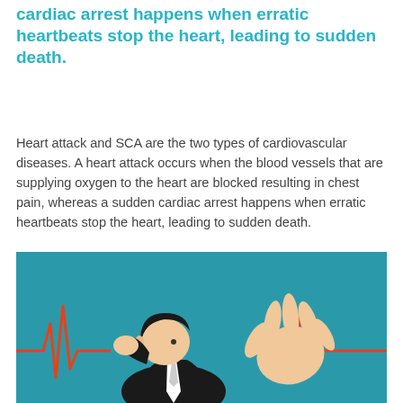cardiac arrest happens when erratic heartbeats stop the heart, leading to sudden death.
Heart attack and SCA are the two types of cardiovascular diseases. A heart attack occurs when the blood vessels that are supplying oxygen to the heart are blocked resulting in chest pain, whereas a sudden cardiac arrest happens when erratic heartbeats stop the heart, leading to sudden death.
[Figure (illustration): Illustration of a man in a dark suit clutching his chest and raising one hand, with red ECG/heartbeat waveform lines on either side, set against a teal background. Depicts sudden cardiac arrest.]